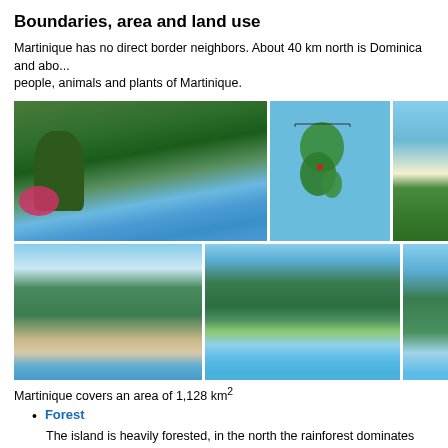Boundaries, area and land use
Martinique has no direct border neighbors. About 40 km north is Dominica and abo... people, animals and plants of Martinique.
[Figure (photo): Tropical bay view with lush trees, pink flowers, blue water and sailboats]
[Figure (map): Map of Martinique island showing topography]
[Figure (photo): Partial photo of palm trees and beach]
[Figure (photo): Aerial view of curved beach with forested hills]
[Figure (photo): Aerial view of turquoise bay with green hills and town]
[Figure (photo): Partial aerial coastal photo]
Martinique covers an area of 1,128 km²
Forest
The island is heavily forested, in the north the rainforest dominates the land. Towards the coast it turns into dry forest. On the west side you can find cac...